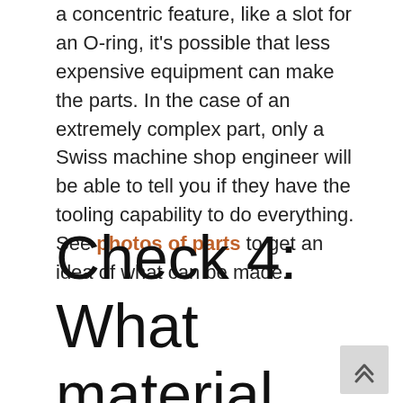a concentric feature, like a slot for an O-ring, it's possible that less expensive equipment can make the parts. In the case of an extremely complex part, only a Swiss machine shop engineer will be able to tell you if they have the tooling capability to do everything. See photos of parts to get an idea of what can be made.
Check 4: What material is called out on the print?